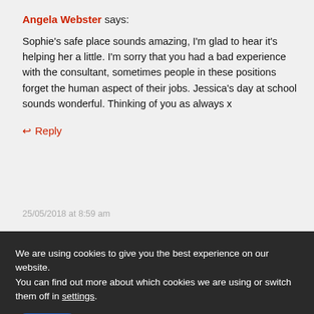Angela Webster says:
Sophie's safe place sounds amazing, I'm glad to hear it's helping her a little. I'm sorry that you had a bad experience with the consultant, sometimes people in these positions forget the human aspect of their jobs. Jessica's day at school sounds wonderful. Thinking of you as always x
↩ Reply
25/05/2018 at 8:59 am
We are using cookies to give you the best experience on our website.
You can find out more about which cookies we are using or switch them off in settings.
Accept